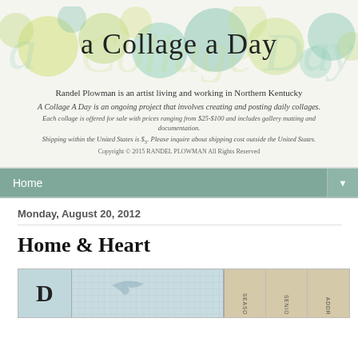[Figure (logo): Blog header with large decorative text 'a Collage a Day' over colorful bubble letter background in green and yellow tones]
Randel Plowman is an artist living and working in Northern Kentucky
A Collage A Day is an ongoing project that involves creating and posting daily collages.
Each collage is offered for sale with prices ranging from $25-$100 and includes gallery matting and documentation.
Shipping within the United States is $5. Please inquire about shipping cost outside the United States.
Copyright © 2015 RANDEL PLOWMAN All Rights Reserved
Home
Monday, August 20, 2012
Home & Heart
[Figure (photo): Horizontal collage strip showing book spines and paper fragments with text fragments including letters D, SEASO, SENIO, ADDR visible]